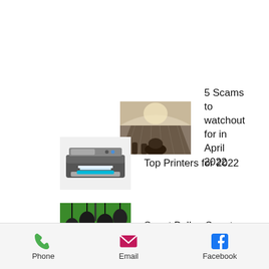[Figure (photo): Thumbnail image of people in an auditorium or church pews, viewed from behind]
5 Scams to watchout for in April 2022
[Figure (photo): Thumbnail image of an HP all-in-one printer]
Top Printers for 2022
[Figure (photo): Thumbnail image of hanging smart light bulbs glowing green]
Smart Bulbs, Smart Choice
Phone   Email   Facebook